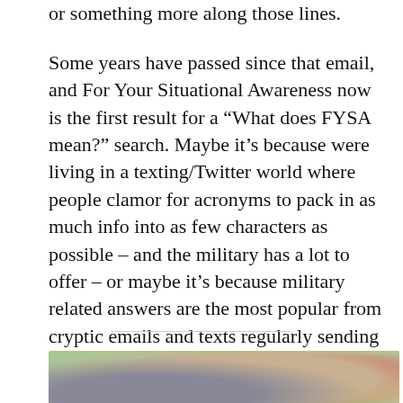or something more along those lines.
Some years have passed since that email, and For Your Situational Awareness now is the first result for a “What does FYSA mean?” search. Maybe it’s because were living in a texting/Twitter world where people clamor for acronyms to pack in as much info into as few characters as possible – and the military has a lot to offer – or maybe it’s because military related answers are the most popular from cryptic emails and texts regularly sending thousands of mil-spouses to the search engines.
[Figure (photo): Partial view of a person outdoors with colorful floral background, only the top of the image is visible]